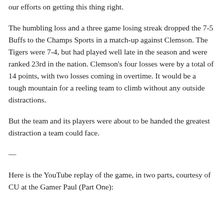our efforts on getting this thing right.
The humbling loss and a three game losing streak dropped the 7-5 Buffs to the Champs Sports in a match-up against Clemson. The Tigers were 7-4, but had played well late in the season and were ranked 23rd in the nation. Clemson's four losses were by a total of 14 points, with two losses coming in overtime. It would be a tough mountain for a reeling team to climb without any outside distractions.
But the team and its players were about to be handed the greatest distraction a team could face.
—
Here is the YouTube replay of the game, in two parts, courtesy of CU at the Gamer Paul (Part One):